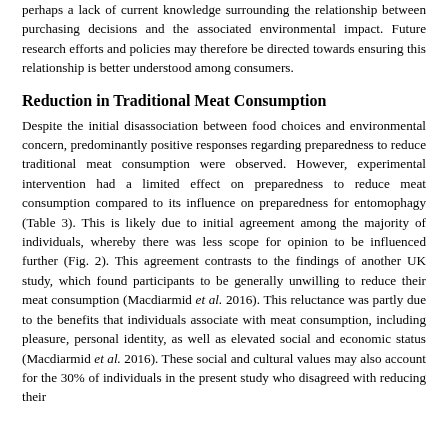perhaps a lack of current knowledge surrounding the relationship between purchasing decisions and the associated environmental impact. Future research efforts and policies may therefore be directed towards ensuring this relationship is better understood among consumers.
Reduction in Traditional Meat Consumption
Despite the initial disassociation between food choices and environmental concern, predominantly positive responses regarding preparedness to reduce traditional meat consumption were observed. However, experimental intervention had a limited effect on preparedness to reduce meat consumption compared to its influence on preparedness for entomophagy (Table 3). This is likely due to initial agreement among the majority of individuals, whereby there was less scope for opinion to be influenced further (Fig. 2). This agreement contrasts to the findings of another UK study, which found participants to be generally unwilling to reduce their meat consumption (Macdiarmid et al. 2016). This reluctance was partly due to the benefits that individuals associate with meat consumption, including pleasure, personal identity, as well as elevated social and economic status (Macdiarmid et al. 2016). These social and cultural values may also account for the 30% of individuals in the present study who disagreed with reducing their